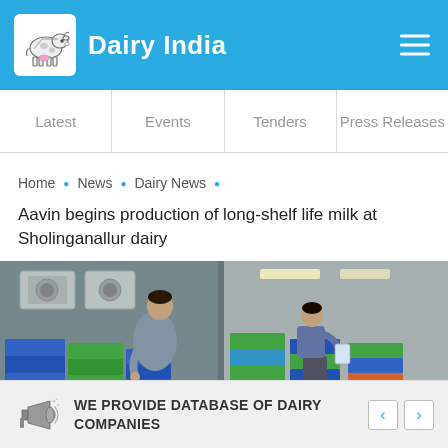Dairy India
Latest
Events
Tenders
Press Releases
Home • News • Dairy News •
Aavin begins production of long-shelf life milk at Sholinganallur dairy
[Figure (photo): Two workers inside a cold storage facility stacking blue crates and boxes of dairy products]
WE PROVIDE DATABASE OF DAIRY COMPANIES